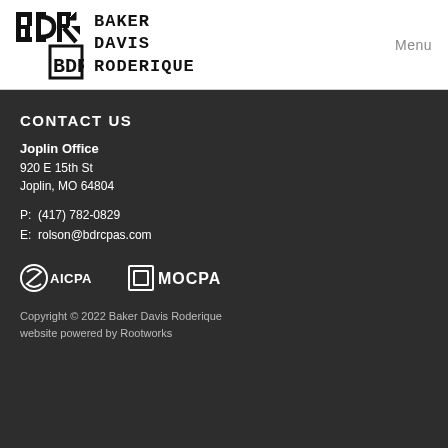[Figure (logo): Baker Davis Roderique logo with stylized BDR monogram and arrow icon]
Menu
CONTACT US
Joplin Office
920 E 15th St
Joplin, MO 64804
P: (417) 782-0829
E: rolson@bdrcpas.com
[Figure (logo): AICPA logo and MOCPA logo side by side]
Copyright © 2022 Baker Davis Roderique
website powered by Rootworks